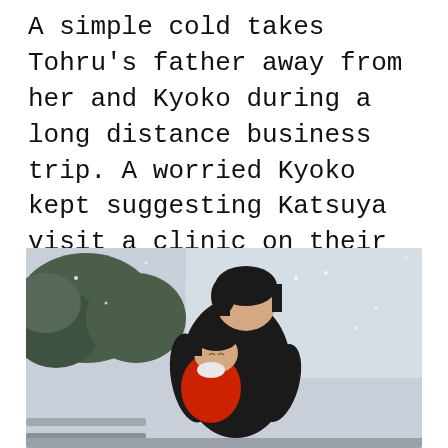A simple cold takes Tohru's father away from her and Kyoko during a long distance business trip. A worried Kyoko kept suggesting Katsuya visit a clinic on their last phone call... But he never did. Instead, his lifeless body was found by his coworkers at the hotel he was staying at the next morning.
[Figure (illustration): Anime screenshot showing a dark-haired young man outdoors in snowy/cold weather hugging a small child who appears to be crying, wearing a red outfit. Trees and a pale grey sky visible in background.]